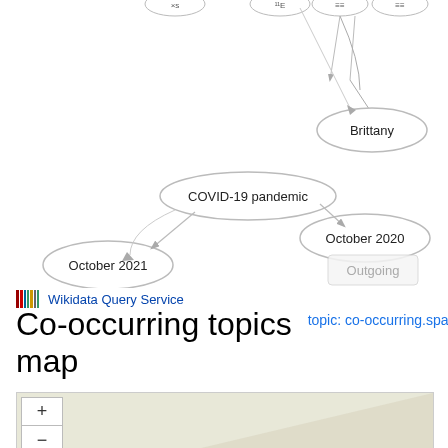[Figure (network-graph): Network graph showing co-occurring topics. Nodes: Brittany (top right), COVID-19 pandemic (center), October 2020 (right center), October 2021 (left), Outgoing (button/label center). Arrows connect COVID-19 pandemic to October 2020, COVID-19 pandemic to October 2021, and lines from top-cropped nodes to Brittany and to COVID-19 pandemic.]
Wikidata Query Service
Co-occurring topics map
topic: co-occurring.sparql
[Figure (map): Partial map view showing a light tan/beige background with zoom in (+) and zoom out (-) controls in the upper left corner.]